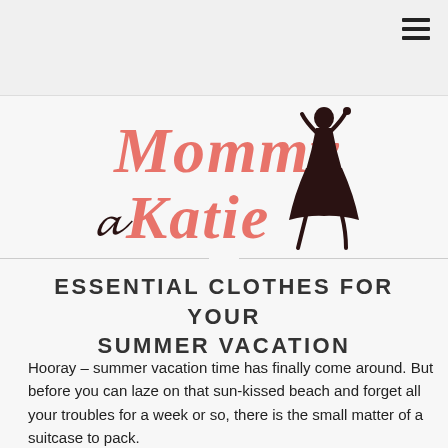[Figure (logo): Mommy Katie blog logo with stylized pink script text and a dark silhouette of a woman in a dress]
ESSENTIAL CLOTHES FOR YOUR SUMMER VACATION
Hooray – summer vacation time has finally come around. But before you can laze on that sun-kissed beach and forget all your troubles for a week or so, there is the small matter of a suitcase to pack.